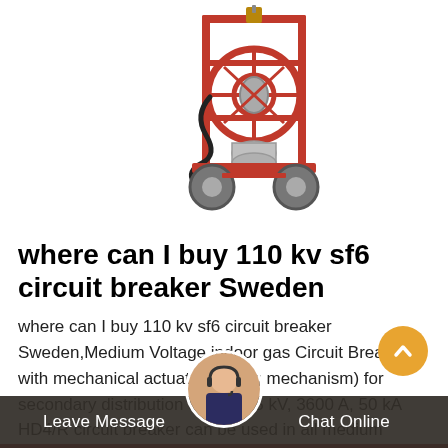[Figure (photo): Red SF6 gas circuit breaker service cart/trolley with wheels, hose reel, and fittings on white background]
where can I buy 110 kv sf6 circuit breaker Sweden
where can I buy 110 kv sf6 circuit breaker Sweden,Medium Voltage indoor gas Circuit Breaker with mechanical actuator (spring mechanism) for secondary distribution up to 40,5 kV, 3600 A, 50 kA HD4/R circuit breaker can be used in all medium voltage secondary distribution and MV/LV transformer